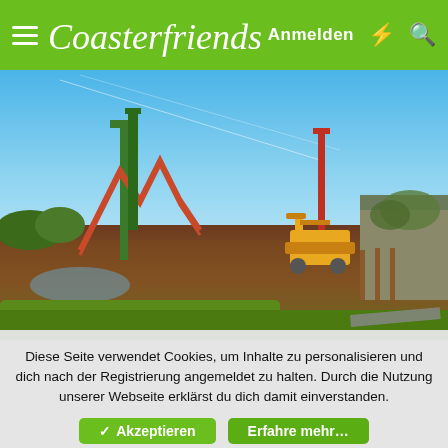Coasterfriends — Anmelden
[Figure (photo): Construction site at a theme park showing roller coaster structures, an excavator, muddy ground, and a warehouse building under a clear blue sky.]
Diese Seite verwendet Cookies, um Inhalte zu personalisieren und dich nach der Registrierung angemeldet zu halten. Durch die Nutzung unserer Webseite erklärst du dich damit einverstanden.
✓ Akzeptieren   Erfahre mehr…